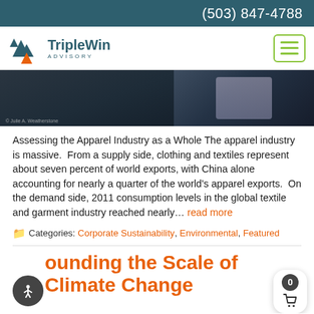(503) 847-4788
[Figure (logo): TripleWin Advisory logo with mountain/tree icon in teal and orange]
[Figure (photo): Dark photo of people in background, possibly factory or outdoor scene]
Assessing the Apparel Industry as a Whole The apparel industry is massive.  From a supply side, clothing and textiles represent about seven percent of world exports, with China alone accounting for nearly a quarter of the world's apparel exports.  On the demand side, 2011 consumption levels in the global textile and garment industry reached nearly… read more
Categories: Corporate Sustainability, Environmental, Featured
ounding the Scale of Climate Change